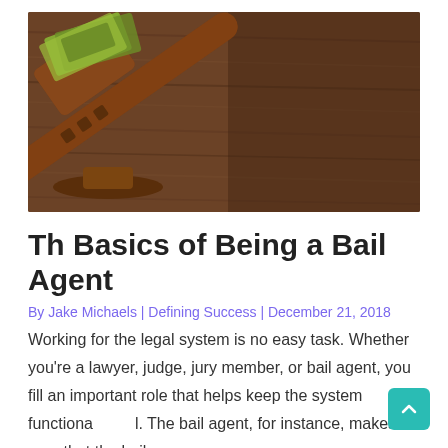[Figure (photo): A wooden judge's gavel resting on a wooden surface with US dollar bills visible near the gavel head, suggesting legal and financial themes related to bail]
Th Basics of Being a Bail Agent
By Jake Michaels | Defining Success | December 21, 2018
Working for the legal system is no easy task. Whether you're a lawyer, judge, jury member, or bail agent, you fill an important role that helps keep the system functional. The bail agent, for instance, makes sure that the bail